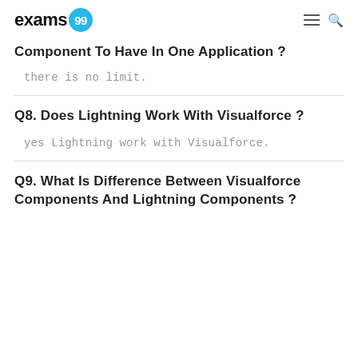exams99
Component To Have In One Application ?
there is no limit.
Q8. Does Lightning Work With Visualforce ?
yes Lightning work with Visualforce.
Q9. What Is Difference Between Visualforce Components And Lightning Components ?